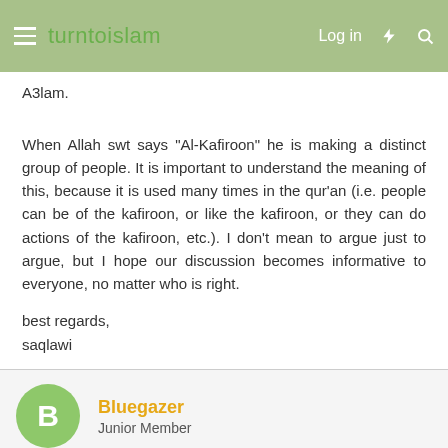turntoislam — Log in
A3lam.
When Allah swt says "Al-Kafiroon" he is making a distinct group of people. It is important to understand the meaning of this, because it is used many times in the qur'an (i.e. people can be of the kafiroon, or like the kafiroon, or they can do actions of the kafiroon, etc.). I don't mean to argue just to argue, but I hope our discussion becomes informative to everyone, no matter who is right.
best regards,
saqlawi
Bluegazer
Junior Member